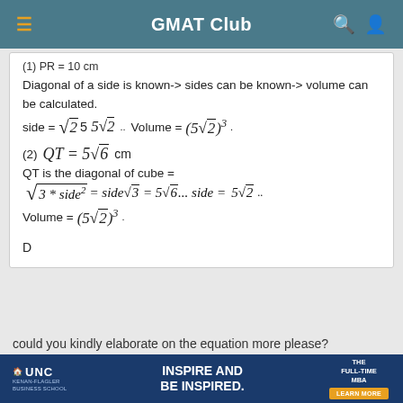GMAT Club
(1) PR = 10 cm
Diagonal of a side is known-> sides can be known-> volume can be calculated.
QT is the diagonal of cube =
D
could you kindly elaborate on the equation more please?
[Figure (infographic): UNC Kenan-Flagler Business School advertisement banner: INSPIRE AND BE INSPIRED. THE FULL-TIME MBA. LEARN MORE button.]